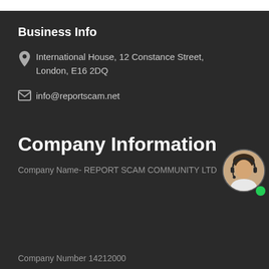Business Info
International House, 12 Constance Street, London, E16 2DQ
info@reportscam.net
Company Information
[Figure (other): Chat popup with text 'Want to chat about your case?' and a close button, plus an avatar of a customer service agent with a green online indicator dot.]
Company Name- REPORT SCAM COMMUNITY LTD
Company Number 14212000